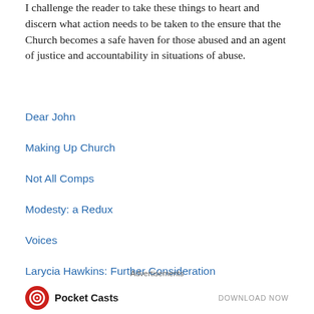I challenge the reader to take these things to heart and discern what action needs to be taken to the ensure that the Church becomes a safe haven for those abused and an agent of justice and accountability in situations of abuse.
Dear John
Making Up Church
Not All Comps
Modesty: a Redux
Voices
Larycia Hawkins: Further Consideration
Advertisements
[Figure (logo): Pocket Casts logo with circular red/white icon and text 'Pocket Casts', alongside 'DOWNLOAD NOW' text]